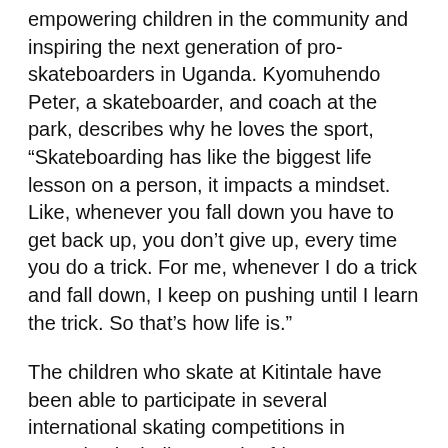empowering children in the community and inspiring the next generation of pro-skateboarders in Uganda. Kyomuhendo Peter, a skateboarder, and coach at the park, describes why he loves the sport, “Skateboarding has like the biggest life lesson on a person, it impacts a mindset. Like, whenever you fall down you have to get back up, you don’t give up, every time you do a trick. For me, whenever I do a trick and fall down, I keep on pushing until I learn the trick. So that’s how life is.”
The children who skate at Kitintale have been able to participate in several international skating competitions in countries including South Africa, Kenya, Namibia, and Germany. Mubiru now hopes to bring more girls into the sport, and thanks to his daughters who are following in his footsteps, he has the perfect female role models, “My daughters, they are inspiring more girls to be part of skateboarding. How? When they skate, other girls say